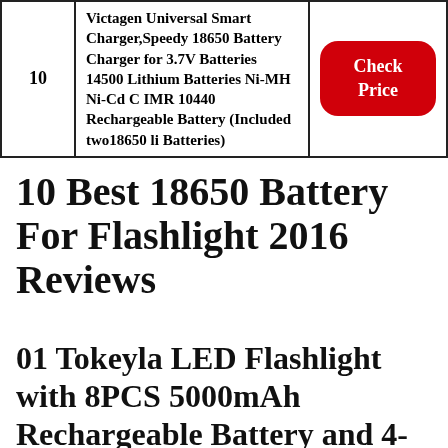| # | Product | Action |
| --- | --- | --- |
| 10 | Victagen Universal Smart Charger,Speedy 18650 Battery Charger for 3.7V Batteries 14500 Lithium Batteries Ni-MH Ni-Cd C IMR 10440 Rechargeable Battery (Included two18650 li Batteries) | Check Price |
10 Best 18650 Battery For Flashlight 2016 Reviews
01 Tokeyla LED Flashlight with 8PCS 5000mAh Rechargeable Battery and 4-Bay Charger,5 Modes 2000 Lumens Flashlight for Camping Hiking Household